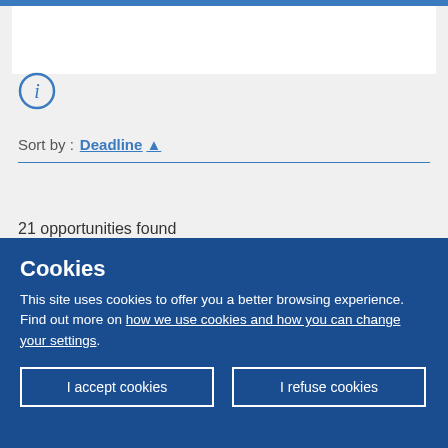[Figure (screenshot): Top blue navigation bar and white box area of a web application]
[Figure (infographic): Info icon circle with letter i]
Sort by : Deadline ▲
21 opportunities found
A web application developer is looking for experienced partners in matching algorithms and scraping data technologies from e-
Cookies
This site uses cookies to offer you a better browsing experience. Find out more on how we use cookies and how you can change your settings.
I accept cookies
I refuse cookies